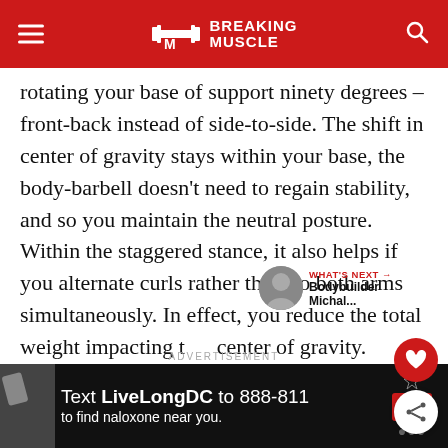BREAKING MUSCLE
rotating your base of support ninety degrees – front-back instead of side-to-side. The shift in center of gravity stays within your base, the body-barbell doesn't need to regain stability, and so you maintain the neutral posture. Within the staggered stance, it also helps if you alternate curls rather than do both arms simultaneously. In effect, you reduce the total weight impacting the center of gravity.
ADVERTISEMENT
[Figure (screenshot): Advertisement banner: Text LiveLongDC to 888-811 to find naloxone near you.]